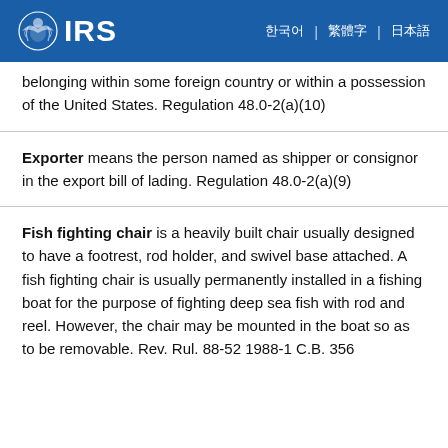IRS
belonging within some foreign country or within a possession of the United States. Regulation 48.0-2(a)(10)
Exporter means the person named as shipper or consignor in the export bill of lading. Regulation 48.0-2(a)(9)
Fish fighting chair is a heavily built chair usually designed to have a footrest, rod holder, and swivel base attached.  A fish fighting chair is usually permanently installed in a fishing boat for the purpose of fighting deep sea fish with rod and reel.   However, the chair may be mounted in the boat so as to be removable.  Rev. Rul. 88-52 1988-1 C.B. 356